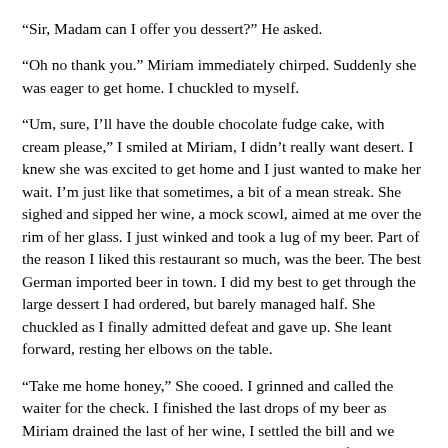“Sir, Madam can I offer you dessert?” He asked.
“Oh no thank you.” Miriam immediately chirped. Suddenly she was eager to get home. I chuckled to myself.
“Um, sure, I’ll have the double chocolate fudge cake, with cream please,” I smiled at Miriam, I didn’t really want desert. I knew she was excited to get home and I just wanted to make her wait. I’m just like that sometimes, a bit of a mean streak. She sighed and sipped her wine, a mock scowl, aimed at me over the rim of her glass. I just winked and took a lug of my beer. Part of the reason I liked this restaurant so much, was the beer. The best German imported beer in town. I did my best to get through the large dessert I had ordered, but barely managed half. She chuckled as I finally admitted defeat and gave up. She leant forward, resting her elbows on the table.
“Take me home honey,” She cooed. I grinned and called the waiter for the check. I finished the last drops of my beer as Miriam drained the last of her wine, I settled the bill and we went outside to get a taxi home. We held hands as I flagged a passing cab, and we were on our way home. She snuggled up against me, her head on my shoulder and holding my hand in her lap while we were in the back of the car. But we were home quickly and Miriam quite literally dragged me up the path, to the front door. I unlocked the